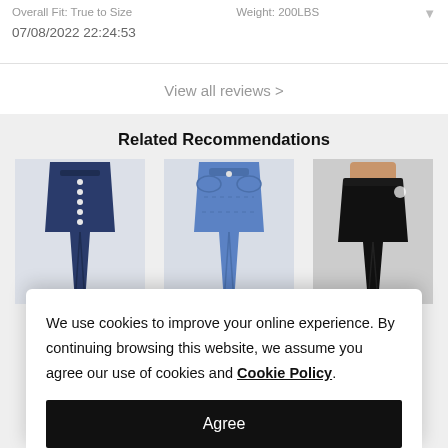Overall Fit: True to Size    Weight: 200LBS
07/08/2022 22:24:53
View all reviews >
Related Recommendations
[Figure (photo): Three product photos of jeans/pants: dark blue high-waist button-front jeans, medium blue high-waist jeans, black leggings/jeans]
We use cookies to improve your online experience. By continuing browsing this website, we assume you agree our use of cookies and Cookie Policy.
Agree